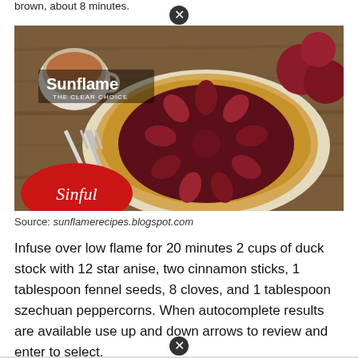brown, about 8 minutes.
[Figure (photo): Photo of a rustic plum or cherry galette (free-form tart) with golden pastry crust on parchment paper. A cup of tea, fork and knife, and halved plums visible. A red logo reading 'Sinful' in the bottom left and a 'Sunflame THE CLEAR CHOICE' logo in the top left.]
Source: sunflamerecipes.blogspot.com
Infuse over low flame for 20 minutes 2 cups of duck stock with 12 star anise, two cinnamon sticks, 1 tablespoon fennel seeds, 8 cloves, and 1 tablespoon szechuan peppercorns. When autocomplete results are available use up and down arrows to review and enter to select.